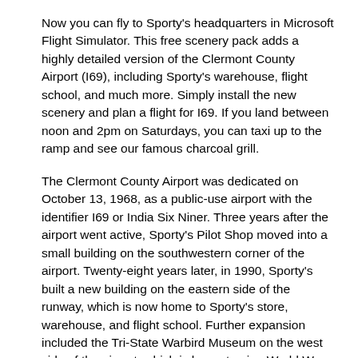Now you can fly to Sporty's headquarters in Microsoft Flight Simulator. This free scenery pack adds a highly detailed version of the Clermont County Airport (I69), including Sporty's warehouse, flight school, and much more. Simply install the new scenery and plan a flight for I69. If you land between noon and 2pm on Saturdays, you can taxi up to the ramp and see our famous charcoal grill.
The Clermont County Airport was dedicated on October 13, 1968, as a public-use airport with the identifier I69 or India Six Niner. Three years after the airport went active, Sporty's Pilot Shop moved into a small building on the southwestern corner of the airport. Twenty-eight years later, in 1990, Sporty's built a new building on the eastern side of the runway, which is now home to Sporty's store, warehouse, and flight school. Further expansion included the Tri-State Warbird Museum on the west side of the airport, which is home to nine World War II-era aircraft, including a Stearman Model 75, B-25 Mitchell, and P51D Mustang (appropriately named the “Cincinnati Miss”), which can